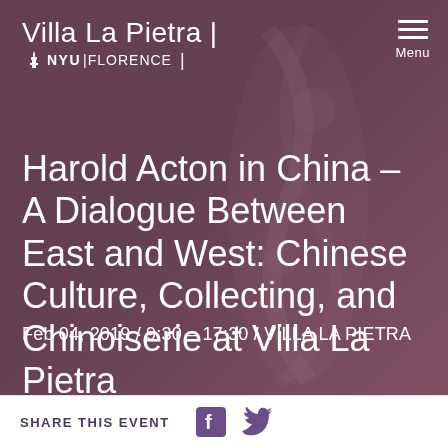Villa La Pietra | NYU FLORENCE  Menu
Harold Acton in China – A Dialogue Between East and West: Chinese Culture, Collecting, and Chinoiserie at Villa La Pietra
Feb 04, 2019 / 9:30 – 17:30 / VILLA LA PIETRA
SHARE THIS EVENT